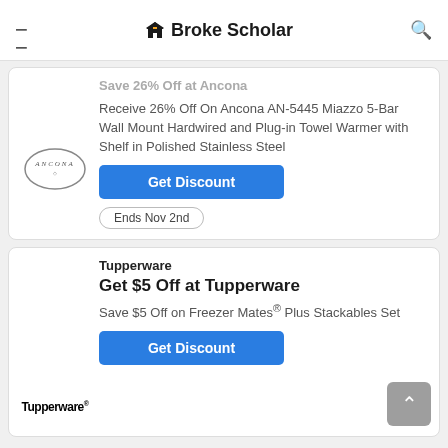BrokeScholar
Save 26% Off at Ancona
Receive 26% Off On Ancona AN-5445 Miazzo 5-Bar Wall Mount Hardwired and Plug-in Towel Warmer with Shelf in Polished Stainless Steel
Get Discount
Ends Nov 2nd
Tupperware
Get $5 Off at Tupperware
Save $5 Off on Freezer Mates® Plus Stackables Set
Get Discount